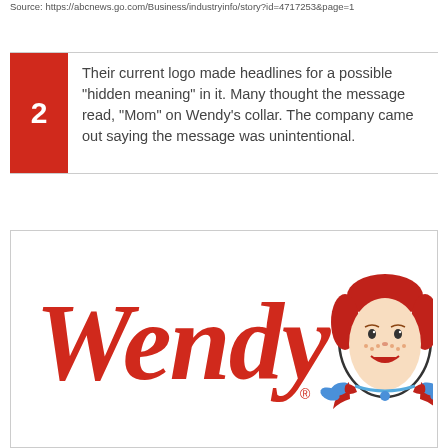Source: https://abcnews.go.com/Business/industryinfo/story?id=4717253&page=1
2  Their current logo made headlines for a possible "hidden meaning" in it. Many thought the message read, "Mom" on Wendy's collar. The company came out saying the message was unintentional.
[Figure (logo): Wendy's logo featuring the red cursive 'Wendy's' wordmark with a registered trademark symbol, alongside the iconic Wendy girl mascot illustration with red hair, freckles, and blue ribbon collar.]